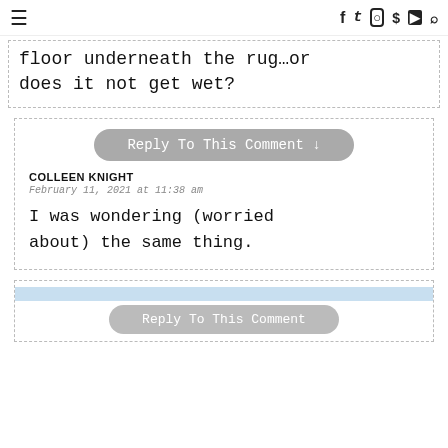≡  f  t  instagram  pinterest  youtube  search
floor underneath the rug…or does it not get wet?
Reply To This Comment ↓
COLLEEN KNIGHT
February 11, 2021 at 11:38 am
I was wondering (worried about) the same thing.
Reply To This Comment